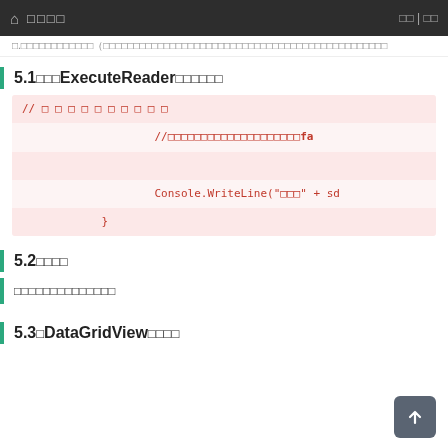⌂ □□□□  □□ | □□
□.□□□□□□□□□□□□（□□□□□□□□□□□□□□□□□□…
5.1□□□ExecuteReader□□□□□□
[Figure (screenshot): Code block showing C# code with ExecuteReader pattern. Lines include: // □□□□□□□□□□, //□□□□□□□□□□□□□□□□□□□□fa, (blank highlighted line), Console.WriteLine("□□□" + sd, }]
5.2□□□□
□□□□□□□□□□□□□□
5.3□DataGridView□□□□